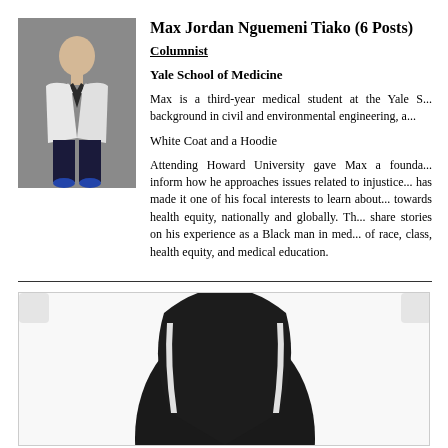[Figure (photo): Portrait photo of Max Jordan Nguemeni Tiako in a white suit jacket and dark trousers standing against a gray background]
Max Jordan Nguemeni Tiako (6 Posts)
Columnist
Yale School of Medicine
Max is a third-year medical student at the Yale S... background in civil and environmental engineering, a...
White Coat and a Hoodie
Attending Howard University gave Max a founda... inform how he approaches issues related to injustice... has made it one of his focal interests to learn about... towards health equity, nationally and globally. Th... share stories on his experience as a Black man in med... of race, class, health equity, and medical education.
[Figure (photo): Partial bottom photo showing a dark hooded garment against a white background]